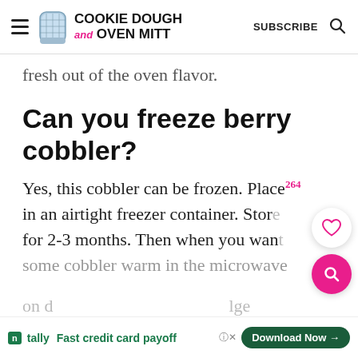Cookie Dough and Oven Mitt — SUBSCRIBE
fresh out of the oven flavor.
Can you freeze berry cobbler?
Yes, this cobbler can be frozen. Place in an airtight freezer container. Store for 2-3 months. Then when you want some cobbler warm in the microwave on d…lge
[Figure (other): Floating UI elements: heart/save button with count 264 and pink search button]
[Figure (other): Advertisement banner: Tally app — Fast credit card payoff — Download Now button]